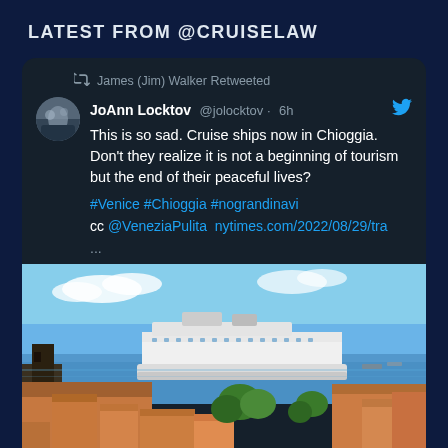LATEST FROM @CRUISELAW
James (Jim) Walker Retweeted
JoAnn Locktov @jolocktov · 6h
This is so sad. Cruise ships now in Chioggia. Don't they realize it is not a beginning of tourism but the end of their peaceful lives?
#Venice #Chioggia #nograndinavi
cc @VeneziaPulita  nytimes.com/2022/08/29/tra
...
[Figure (photo): Aerial/elevated view of an Italian coastal city (Chioggia) with orange/terracotta rooftops in the foreground and a large white cruise ship docked in the harbor under a blue sky]